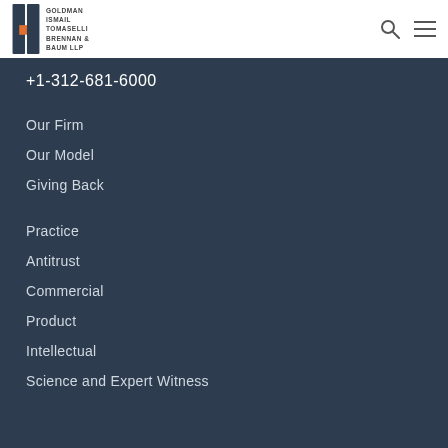[Figure (logo): Goldman Ismail Tomaselli Brennan & Baum LLP logo with stylized 'GITBB' mark]
+1-312-681-6000
Our Firm
Our Model
Giving Back
Practice
Antitrust
Commercial
Product
Intellectual
Science and Expert Witness